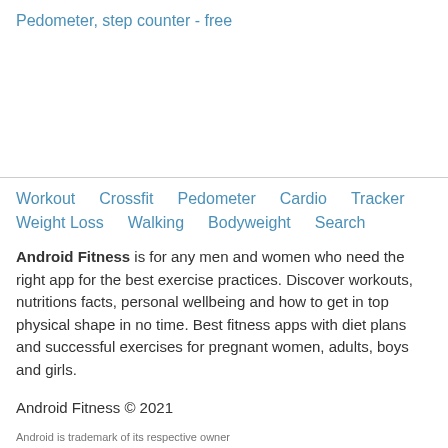Pedometer, step counter - free
Workout
Crossfit
Pedometer
Cardio
Tracker
Weight Loss
Walking
Bodyweight
Search
Android Fitness is for any men and women who need the right app for the best exercise practices. Discover workouts, nutritions facts, personal wellbeing and how to get in top physical shape in no time. Best fitness apps with diet plans and successful exercises for pregnant women, adults, boys and girls.
Android Fitness © 2021
Android is trademark of its respective owner